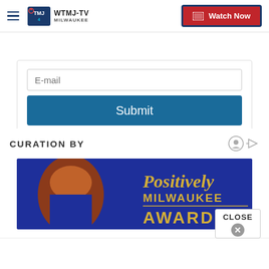WTMJ-TV Milwaukee — Watch Now
E-mail
Submit
CURATION BY
[Figure (photo): Positively Milwaukee Awards promotional banner with a person with red hair on a blue background with gold script text reading 'Positively Milwaukee AWARDS']
CLOSE